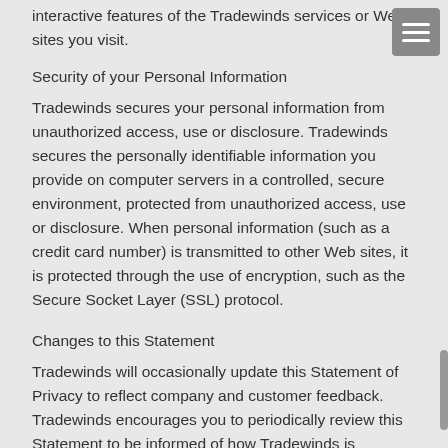interactive features of the Tradewinds services or Web sites you visit.
Security of your Personal Information
Tradewinds secures your personal information from unauthorized access, use or disclosure. Tradewinds secures the personally identifiable information you provide on computer servers in a controlled, secure environment, protected from unauthorized access, use or disclosure. When personal information (such as a credit card number) is transmitted to other Web sites, it is protected through the use of encryption, such as the Secure Socket Layer (SSL) protocol.
Changes to this Statement
Tradewinds will occasionally update this Statement of Privacy to reflect company and customer feedback. Tradewinds encourages you to periodically review this Statement to be informed of how Tradewinds is protecting your information.
Contact Information